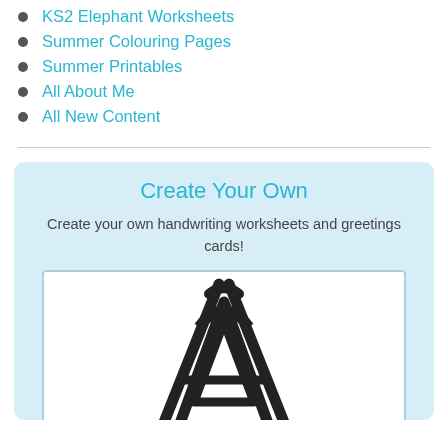KS2 Elephant Worksheets
Summer Colouring Pages
Summer Printables
All About Me
All New Content
Create Your Own
Create your own handwriting worksheets and greetings cards!
[Figure (illustration): A large outlined letter A (capital) drawn in bold black lines on a white background, showing a partial view with the triangular shape and crossbar visible.]